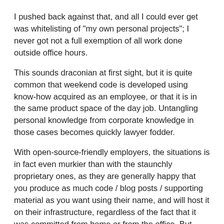I pushed back against that, and all I could ever get was whitelisting of "my own personal projects"; I never got not a full exemption of all work done outside office hours.
This sounds draconian at first sight, but it is quite common that weekend code is developed using know-how acquired as an employee, or that it is in the same product space of the day job. Untangling personal knowledge from corporate knowledge in those cases becomes quickly lawyer fodder.
With open-source-friendly employers, the situations is in fact even murkier than with the staunchly proprietary ones, as they are generally happy that you produce as much code / blog posts / supporting material as you want using their name, and will host it on their infrastructure, regardless of the fact that it was committed from home or from the office. But then they will also require a cooperative behavior on baseline practices which affect the corporate brand & copyright protection.
Scolding colleagues on a publicly visible pull request might be OK in some places, and definitely not acceptable in others. The same for twitter messages, even posted from a "personal" account.